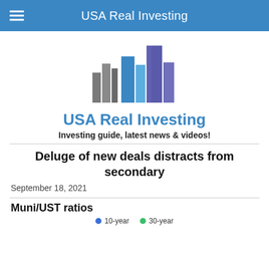USA Real Investing
[Figure (logo): USA Real Investing logo with stylized city buildings in gray, blue, and purple tones]
USA Real Investing
Investing guide, latest news & videos!
Deluge of new deals distracts from secondary
September 18, 2021
Muni/UST ratios
10-year   30-year